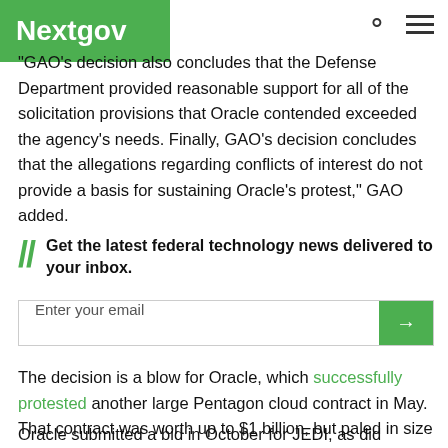Nextgov
“GAO’s decision also concludes that the Defense Department provided reasonable support for all of the solicitation provisions that Oracle contended exceeded the agency’s needs. Finally, GAO’s decision concludes that the allegations regarding conflicts of interest do not provide a basis for sustaining Oracle’s protest,” GAO added.
Get the latest federal technology news delivered to your inbox.
The decision is a blow for Oracle, which successfully protested another large Pentagon cloud contract in May. That contract was worth up to $1 billion, but paled in size compared to JEDI.
Oracle submitted a bid in October for JEDI, as did competitors